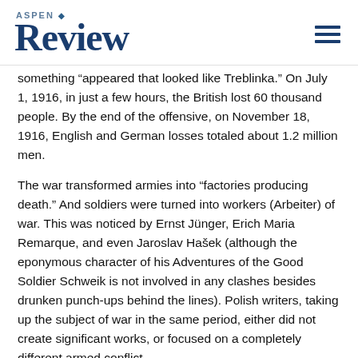ASPEN Review
something “appeared that looked like Treblinka.” On July 1, 1916, in just a few hours, the British lost 60 thousand people. By the end of the offensive, on November 18, 1916, English and German losses totaled about 1.2 million men.
The war transformed armies into “factories producing death.” And soldiers were turned into workers (Arbeiter) of war. This was noticed by Ernst Jünger, Erich Maria Remarque, and even Jaroslav Hašek (although the eponymous character of his Adventures of the Good Soldier Schweik is not involved in any clashes besides drunken punch-ups behind the lines). Polish writers, taking up the subject of war in the same period, either did not create significant works, or focused on a completely different armed conflict.